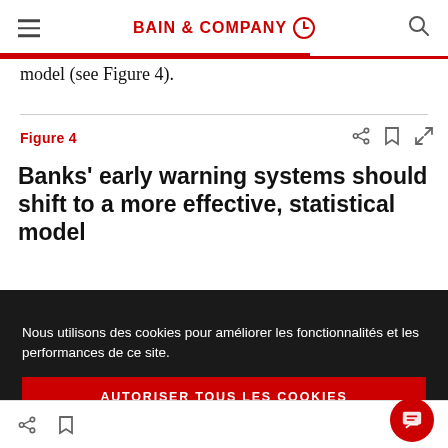BAIN & COMPANY
model (see Figure 4).
Figure 4
Banks' early warning systems should shift to a more effective, statistical model
Nous utilisons des cookies pour améliorer les fonctionnalités et les performances de ce site.
AUTORISER TOUS LES COOKIES